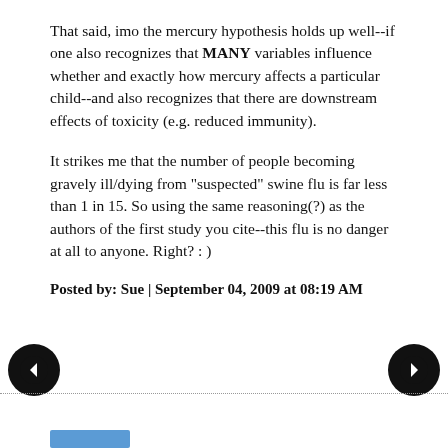That said, imo the mercury hypothesis holds up well--if one also recognizes that MANY variables influence whether and exactly how mercury affects a particular child--and also recognizes that there are downstream effects of toxicity (e.g. reduced immunity).
It strikes me that the number of people becoming gravely ill/dying from "suspected" swine flu is far less than 1 in 15. So using the same reasoning(?) as the authors of the first study you cite--this flu is no danger at all to anyone. Right? : )
Posted by: Sue | September 04, 2009 at 08:19 AM
[Figure (other): Left navigation arrow button (black circle with white left arrow)]
[Figure (other): Right navigation arrow button (black circle with white right arrow)]